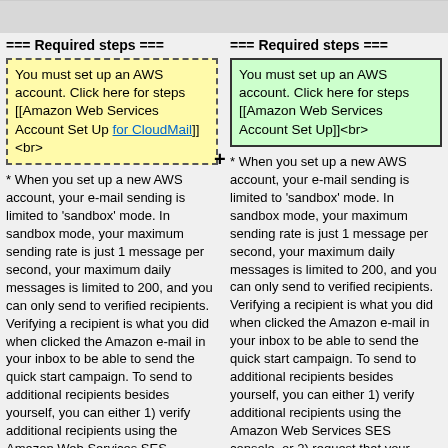=== Required steps ===
You must set up an AWS account. Click here for steps [[Amazon Web Services Account Set Up for CloudMail]]<br>
* When you set up a new AWS account, your e-mail sending is limited to 'sandbox' mode. In sandbox mode, your maximum sending rate is just 1 message per second, your maximum daily messages is limited to 200, and you can only send to verified recipients. Verifying a recipient is what you did when clicked the Amazon e-mail in your inbox to be able to send the quick start campaign. To send to additional recipients besides yourself, you can either 1) verify additional recipients using the Amazon Web Services SES console, or 2) request that your account be switched to production mode. <br>
* Important: Before going into production mode you must change your geographic location on the AWS
=== Required steps ===
You must set up an AWS account. Click here for steps [[Amazon Web Services Account Set Up]]<br>
* When you set up a new AWS account, your e-mail sending is limited to 'sandbox' mode. In sandbox mode, your maximum sending rate is just 1 message per second, your maximum daily messages is limited to 200, and you can only send to verified recipients. Verifying a recipient is what you did when clicked the Amazon e-mail in your inbox to be able to send the quick start campaign. To send to additional recipients besides yourself, you can either 1) verify additional recipients using the Amazon Web Services SES console, or 2) request that your account be switched to production mode. <br>
* Important: Before going into production mode you must change your geographic location on the AWS